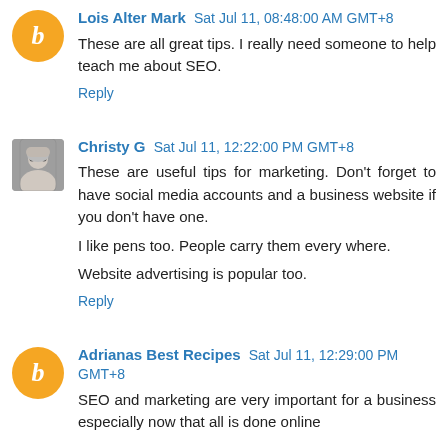Lois Alter Mark Sat Jul 11, 08:48:00 AM GMT+8
These are all great tips. I really need someone to help teach me about SEO.
Reply
Christy G Sat Jul 11, 12:22:00 PM GMT+8
These are useful tips for marketing. Don't forget to have social media accounts and a business website if you don't have one.

I like pens too. People carry them every where.

Website advertising is popular too.
Reply
Adrianas Best Recipes Sat Jul 11, 12:29:00 PM GMT+8
SEO and marketing are very important for a business especially now that all is done online